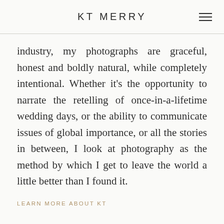KT MERRY
industry, my photographs are graceful, honest and boldly natural, while completely intentional. Whether it’s the opportunity to narrate the retelling of once-in-a-lifetime wedding days, or the ability to communicate issues of global importance, or all the stories in between, I look at photography as the method by which I get to leave the world a little better than I found it.
LEARN MORE ABOUT KT